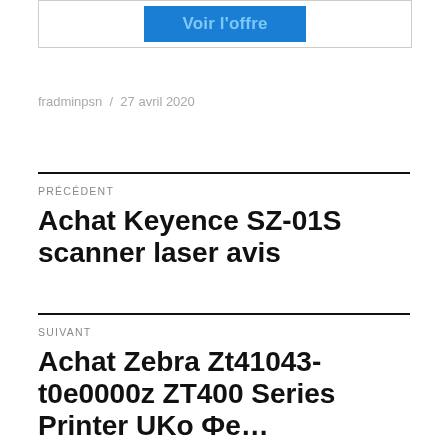[Figure (screenshot): Blue button labeled 'Voir l'offre' inside a bordered box]
fradminpsn / 27 avril 2020
PRÉCÉDENT
Achat Keyence SZ-01S scanner laser avis
SUIVANT
Achat Zebra Zt41043-t0e0000z ZT400 Series Printer UKoФеренд